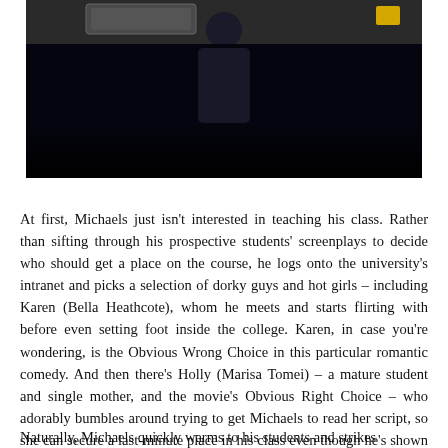[Figure (photo): A dark photograph showing a person (presumably Michaels) standing in front of a dark background, possibly a classroom or lecture hall. A yellow object is visible in the upper right area of the image.]
At first, Michaels just isn't interested in teaching his class. Rather than sifting through his prospective students' screenplays to decide who should get a place on the course, he logs onto the university's intranet and picks a selection of dorky guys and hot girls – including Karen (Bella Heathcote), whom he meets and starts flirting with before even setting foot inside the college. Karen, in case you're wondering, is the Obvious Wrong Choice in this particular romantic comedy. And then there's Holly (Marisa Tomei) – a mature student and single mother, and the movie's Obvious Right Choice – who adorably bumbles around trying to get Michaels to read her script, so she can secure a last-minute place in his class even though he's shown no discernible teaching ability.
Naturally, Michaels quickly warms to his students and strikes